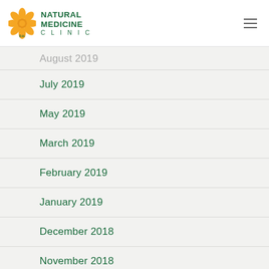[Figure (logo): Natural Medicine Clinic logo with orange flower and green text]
August 2019
July 2019
May 2019
March 2019
February 2019
January 2019
December 2018
November 2018
July 2018